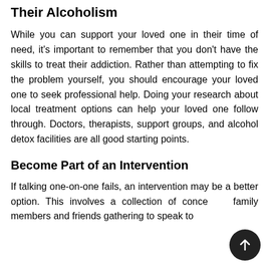Their Alcoholism
While you can support your loved one in their time of need, it's important to remember that you don't have the skills to treat their addiction. Rather than attempting to fix the problem yourself, you should encourage your loved one to seek professional help. Doing your research about local treatment options can help your loved one follow through. Doctors, therapists, support groups, and alcohol detox facilities are all good starting points.
Become Part of an Intervention
If talking one-on-one fails, an intervention may be a better option. This involves a collection of concerned family members and friends gathering to speak to